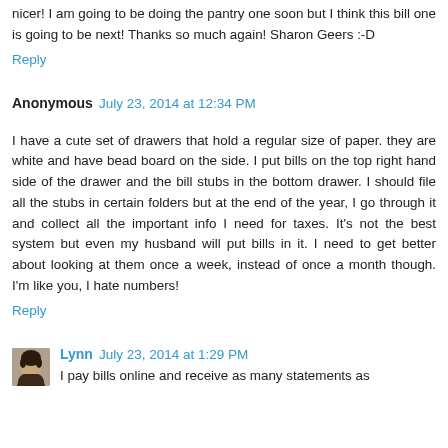nicer! I am going to be doing the pantry one soon but I think this bill one is going to be next! Thanks so much again! Sharon Geers :-D
Reply
Anonymous  July 23, 2014 at 12:34 PM
I have a cute set of drawers that hold a regular size of paper. they are white and have bead board on the side. I put bills on the top right hand side of the drawer and the bill stubs in the bottom drawer. I should file all the stubs in certain folders but at the end of the year, I go through it and collect all the important info I need for taxes. It's not the best system but even my husband will put bills in it. I need to get better about looking at them once a week, instead of once a month though. I'm like you, I hate numbers!
Reply
Lynn  July 23, 2014 at 1:29 PM
I pay bills online and receive as many statements as